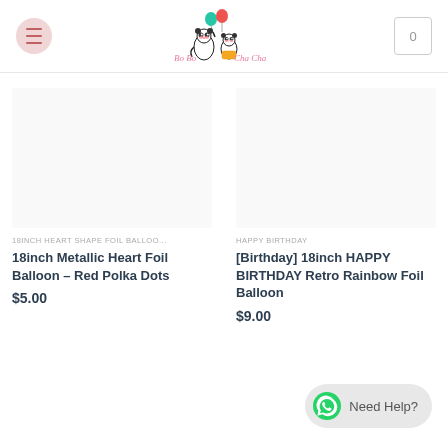Bo Bo Cha Cha Balloon
[Figure (other): Product image placeholder for 18inch Metallic Heart Foil Balloon - Red Polka Dots]
18INCH HEART SHAPE FOIL BALLOO...
18inch Metallic Heart Foil Balloon – Red Polka Dots
$5.00
[Figure (other): Product image placeholder for [Birthday] 18inch HAPPY BIRTHDAY Retro Rainbow Foil Balloon]
HAPPY BIRTHDAY
[Birthday] 18inch HAPPY BIRTHDAY Retro Rainbow Foil Balloon
$9.00
Need Help?